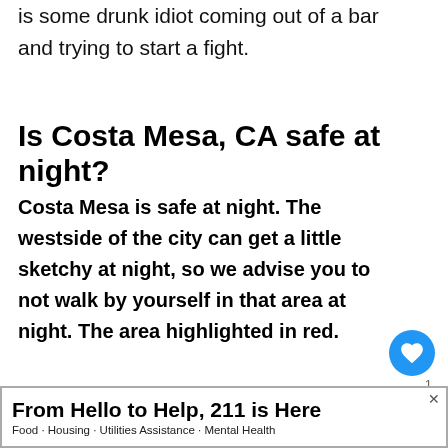is some drunk idiot coming out of a bar and trying to start a fight.
Is Costa Mesa, CA safe at night?
Costa Mesa is safe at night. The westside of the city can get a little sketchy at night, so we advise you to not walk by yourself in that area at night. The area highlighted in red.
[Figure (map): Street map of Costa Mesa area with a red marker indicating a specific location. A 'What's Next' panel on the right shows a thumbnail and text 'Is Mesa, AZ Safe? (Crim...']
[Figure (infographic): Advertisement banner: 'From Hello to Help, 211 is Here' with subtitle 'Food · Housing · Utilities Assistance · Mental Health']